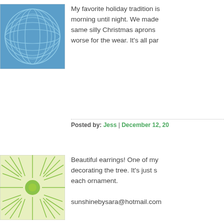[Figure (illustration): Blue geometric circle pattern avatar icon]
My favorite holiday tradition is morning until night. We made same silly Christmas aprons worse for the wear. It's all par
Posted by: Jess | December 12, 20...
[Figure (illustration): Green sunburst / dandelion circle pattern avatar icon]
Beautiful earrings! One of my decorating the tree. It's just s each ornament.

sunshinebysara@hotmail.co...
Posted by: Sara Torbett | Decembe...
[Figure (illustration): Light blue swirl wave pattern avatar icon]
One of my favourite holiday t and whipped cream (ris a la m whole almond placed in the b how full we were we had to k older siblings would slip it to my family. A very merry Chris Nina